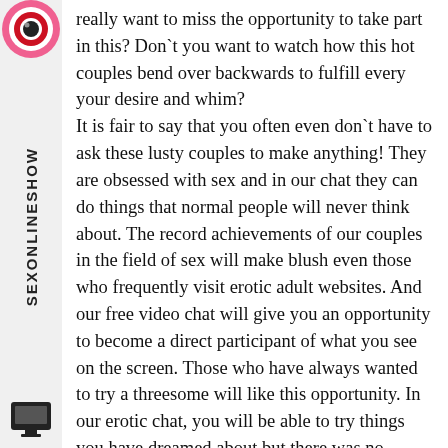[Figure (logo): Pink and red bullseye/target icon in top-left sidebar]
SEXONLINESHOW
[Figure (logo): Black chat/video icon in bottom-left sidebar]
really want to miss the opportunity to take part in this? Don`t you want to watch how this hot couples bend over backwards to fulfill every your desire and whim?
It is fair to say that you often even don`t have to ask these lusty couples to make anything! They are obsessed with sex and in our chat they can do things that normal people will never think about. The record achievements of our couples in the field of sex will make blush even those who frequently visit erotic adult websites. And our free video chat will give you an opportunity to become a direct participant of what you see on the screen. Those who have always wanted to try a threesome will like this opportunity. In our erotic chat, you will be able to try things you have dreamed about but there was no opportunity for them! Just tell our models, what you want to see, and get ready for the best sex adventure of your life. So, dreams come true! The main things are the desire